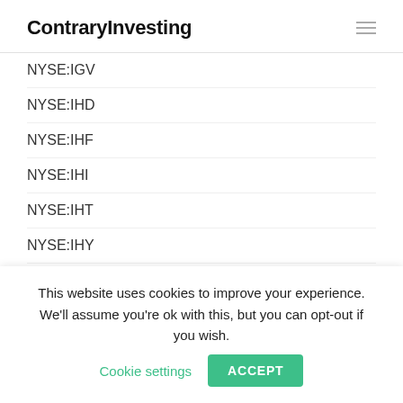ContraryInvesting
NYSE:IGV
NYSE:IHD
NYSE:IHF
NYSE:IHI
NYSE:IHT
NYSE:IHY
NYSE:IIF
NYSE:IIM
NYSE:IIPR
This website uses cookies to improve your experience. We'll assume you're ok with this, but you can opt-out if you wish. Cookie settings ACCEPT